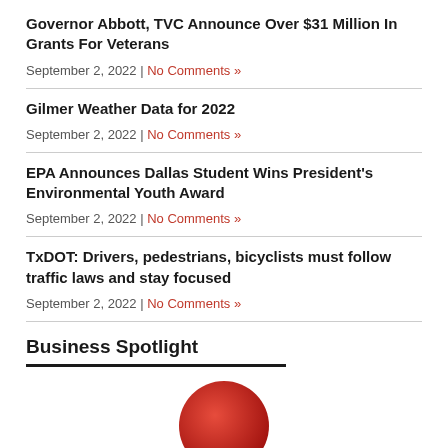Governor Abbott, TVC Announce Over $31 Million In Grants For Veterans
September 2, 2022 | No Comments »
Gilmer Weather Data for 2022
September 2, 2022 | No Comments »
EPA Announces Dallas Student Wins President's Environmental Youth Award
September 2, 2022 | No Comments »
TxDOT: Drivers, pedestrians, bicyclists must follow traffic laws and stay focused
September 2, 2022 | No Comments »
Business Spotlight
[Figure (photo): Circular red logo or image, partially visible at bottom of page]